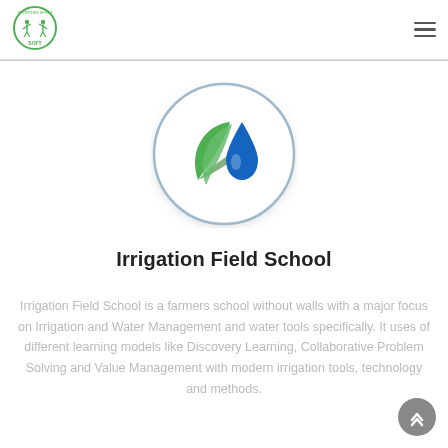[Figure (logo): SOFT organization circular logo with figures and text]
[Figure (logo): Irrigation field school circular icon with green leaf and blue water drop]
Irrigation Field School
Irrigation Field School is a farmers school without walls with a major focus on Irrigation and Water Management and water tools specifically. It uses of different learning models like Discovery Learning, Collaborative Problem Solving and Value Management with modern irrigation tools, technology and methods.